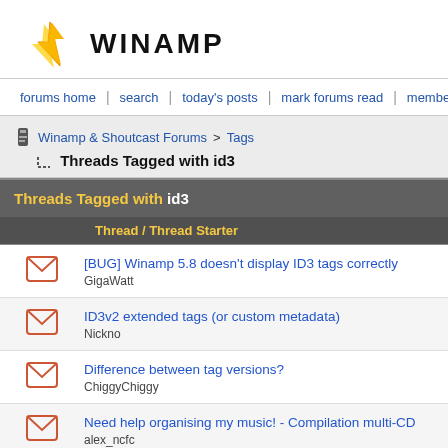WINAMP
forums home | search | today's posts | mark forums read | members list | faq
Winamp & Shoutcast Forums > Tags — Threads Tagged with id3
|  | Thread / Thread Starter |
| --- | --- |
| [icon] | [BUG] Winamp 5.8 doesn't display ID3 tags correctly
GigaWatt |
| [icon] | ID3v2 extended tags (or custom metadata)
Nickno |
| [icon] | Difference between tag versions?
ChiggyChiggy |
| [icon] | Need help organising my music! - Compilation multi-CD
alex_ncfc |
| [icon] | Winamp Auto-Tagger
odinp |